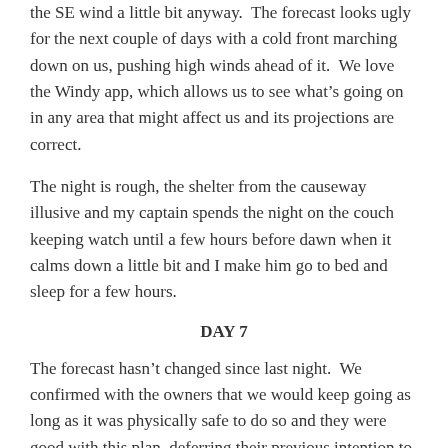the SE wind a little bit anyway.  The forecast looks ugly for the next couple of days with a cold front marching down on us, pushing high winds ahead of it.  We love the Windy app, which allows us to see what's going on in any area that might affect us and its projections are correct.
The night is rough, the shelter from the causeway illusive and my captain spends the night on the couch keeping watch until a few hours before dawn when it calms down a little bit and I make him go to bed and sleep for a few hours.
DAY 7
The forecast hasn't changed since last night.  We confirmed with the owners that we would keep going as long as it was physically safe to do so and they were good with this plan, deferring their previous intention to join us in Charleston, SC since traveling with the C-19 stuff going on has become a bit problematic.
We advised them that the winds were forecast to be constant 20 mph+ with gusts to 45 by nightfall and that we felt the